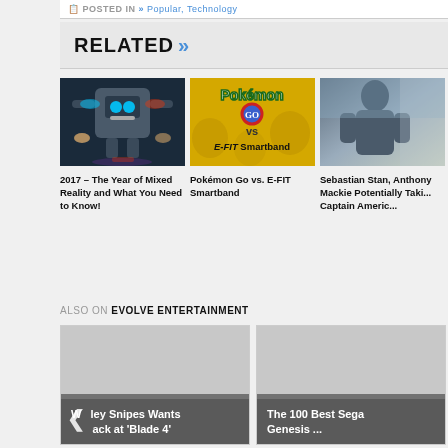POSTED IN >> Popular, Technology
RELATED >>
[Figure (photo): Robot with glowing blue and red lights, hands reaching toward it]
2017 – The Year of Mixed Reality and What You Need to Know!
[Figure (photo): Pokémon Go vs E-FIT Smartband yellow illustrated image]
Pokémon Go vs. E-FIT Smartband
[Figure (photo): Sebastian Stan and Anthony Mackie photo, action/superhero theme]
Sebastian Stan, Anthony Mackie Potentially Taki... Captain Americ...
ALSO ON EVOLVE ENTERTAINMENT
[Figure (screenshot): Card: Wesley Snipes Wants Back at 'Blade 4' with left arrow nav]
[Figure (screenshot): Card: The 100 Best Sega Genesis ...]